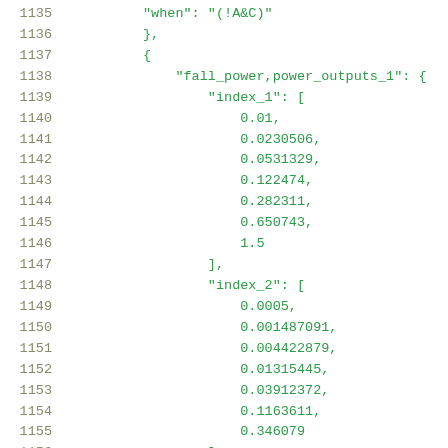Code listing lines 1135-1156: JSON data structure with fall_power,power_outputs_1 containing index_1 and index_2 arrays
1135    "when": "(!A&C)"
1136          },
1137          {
1138              "fall_power,power_outputs_1": {
1139                  "index_1": [
1140                      0.01,
1141                      0.0230506,
1142                      0.0531329,
1143                      0.122474,
1144                      0.282311,
1145                      0.650743,
1146                      1.5
1147                  ],
1148                  "index_2": [
1149                      0.0005,
1150                      0.001487091,
1151                      0.004422879,
1152                      0.01315445,
1153                      0.03912372,
1154                      0.1163611,
1155                      0.346079
1156                  ]